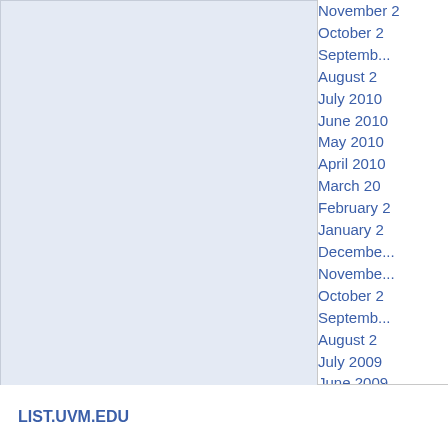[Figure (screenshot): Light blue panel area, left portion of a webpage layout]
November 2
October 2
September 2
August 2
July 2010
June 2010
May 2010
April 2010
March 20
February 2
January 2
December
November
October 2
September
August 2
July 2009
June 2009
May 2009
April 2009
March 20
February
January 2
December
LIST.UVM.EDU